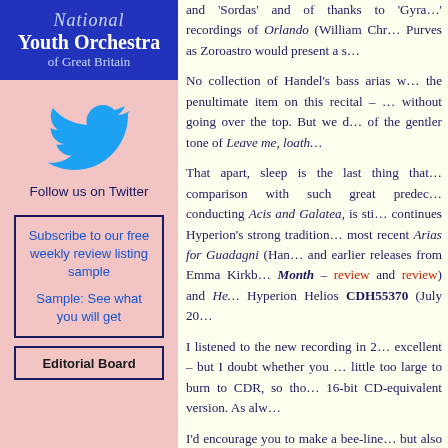[Figure (logo): National Youth Orchestra of Great Britain blue banner logo]
[Figure (illustration): Twitter bird icon in cyan/teal color]
Follow us on Twitter
Subscribe to our free weekly review listing sample

Sample: See what you will get
Editorial Board
and 'Sordas' and of thanks to 'Gyra…' recordings of Orlando (William Chr… Purves as Zoroastro would present a s…
No collection of Handel's bass arias w… the penultimate item on this recital – … without going over the top. But we d… of the gentler tone of Leave me, loath…
That apart, sleep is the last thing that… comparison with such great predec… conducting Acis and Galatea, is sti… continues Hyperion's strong tradition… most recent Arias for Guadagni (Han… and earlier releases from Emma Kirkb… Month – review and review) and He… Hyperion Helios CDH55370 (July 20…
I listened to the new recording in 2… excellent – but I doubt whether you … little too large to burn to CDR, so tho… 16-bit CD-equivalent version. As alw…
I'd encourage you to make a bee-line… but also to investigate some of Hyper… of all it's to the two CDs with Arc…